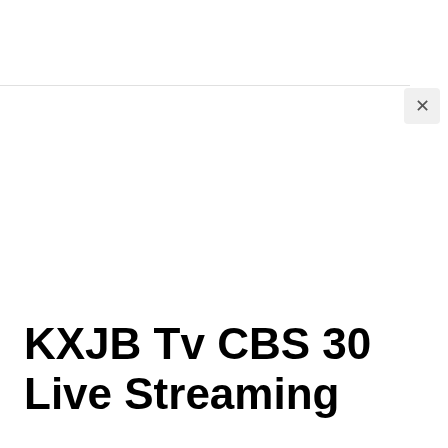[Figure (screenshot): White browser popup/dialog area with a close button (×) in the upper right corner and a horizontal divider line near the top]
KXJB Tv CBS 30  Live Streaming